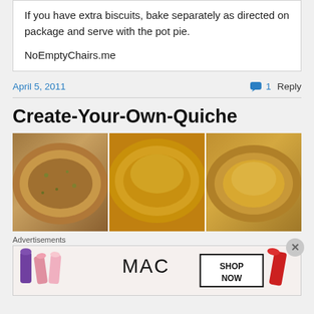If you have extra biscuits, bake separately as directed on package and serve with the pot pie.
NoEmptyChairs.me
April 5, 2011
1 Reply
Create-Your-Own-Quiche
[Figure (photo): Three quiche photos side by side showing baked quiches in pie tins]
Advertisements
[Figure (photo): MAC cosmetics advertisement showing lipsticks with SHOP NOW text]